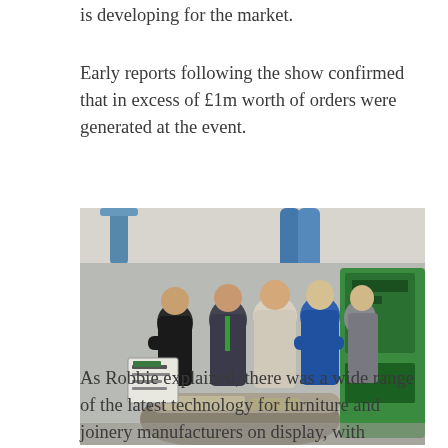is developing for the market.
Early reports following the show confirmed that in excess of £1m worth of orders were generated at the event.
[Figure (photo): Group of people standing and talking around a table at an industrial machinery exhibition, with green and metallic machinery visible in the background, and a sign/brochure stand in the foreground.]
As Robbie explained, there was a wide range of the latest technology for furniture and joinery manufacturers on display, with